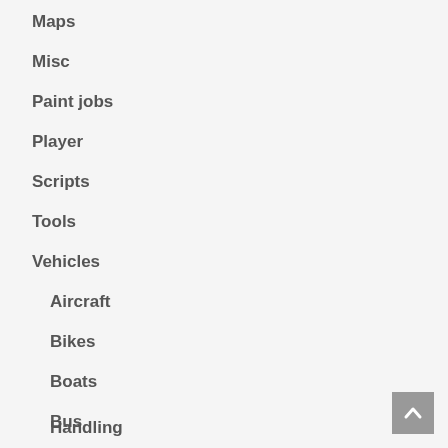Maps
Misc
Paint jobs
Player
Scripts
Tools
Vehicles
Aircraft
Bikes
Boats
Bus
Cars
Handling